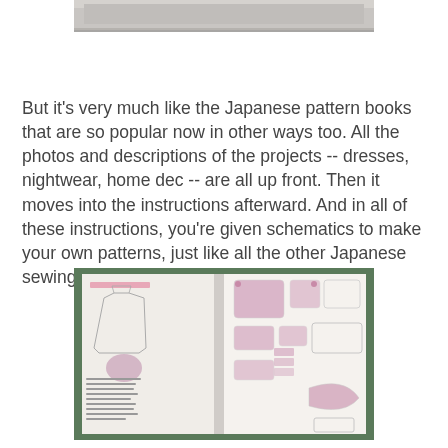[Figure (photo): Top portion of a photograph, partially cropped, showing a shelf or surface background]
But it's very much like the Japanese pattern books that are so popular now in other ways too. All the photos and descriptions of the projects -- dresses, nightwear, home dec -- are all up front. Then it moves into the instructions afterward. And in all of these instructions, you're given schematics to make your own patterns, just like all the other Japanese sewing books I own.
[Figure (photo): Open sewing pattern book showing schematic diagrams and pattern pieces for a dress, with pink/mauve colored pattern shapes on white pages]